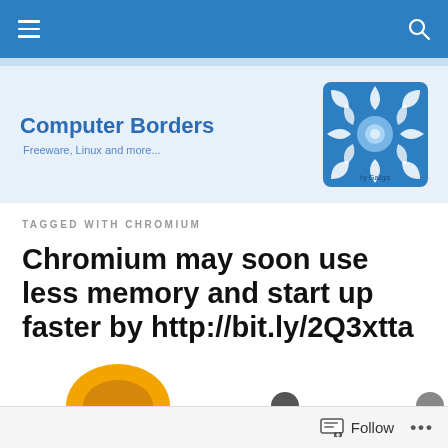Computer Borders — Freeware, Linux and more...
TAGGED WITH CHROMIUM
Chromium may soon use less memory and start up faster by http://bit.ly/2Q3xtta
[Figure (logo): Decorative snowflake/Celtic knot logo for Computer Borders by Galigis]
Follow